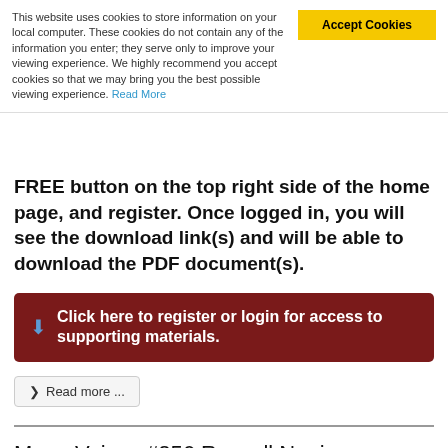This website uses cookies to store information on your local computer. These cookies do not contain any of the information you enter; they serve only to improve your viewing experience. We highly recommend you accept cookies so that we may bring you the best possible viewing experience. Read More
FREE button on the top right side of the home page, and register. Once logged in, you will see the download link(s) and will be able to download the PDF document(s).
Click here to register or login for access to supporting materials.
> Read more ...
MacroVoices #256 Russell Napier: Prepare for Secular Inflation
Created: 28 January 2021